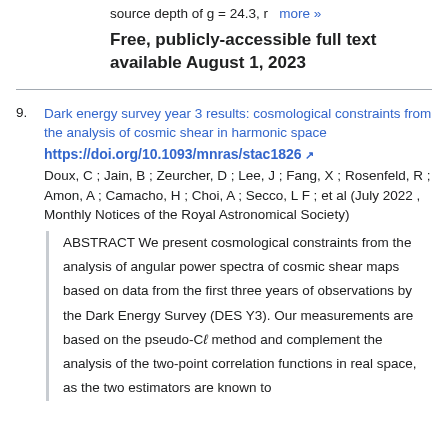source depth of g = 24.3, r   more »
Free, publicly-accessible full text available August 1, 2023
9. Dark energy survey year 3 results: cosmological constraints from the analysis of cosmic shear in harmonic space
https://doi.org/10.1093/mnras/stac1826
Doux, C ; Jain, B ; Zeurcher, D ; Lee, J ; Fang, X ; Rosenfeld, R ; Amon, A ; Camacho, H ; Choi, A ; Secco, L F ; et al (July 2022 , Monthly Notices of the Royal Astronomical Society)
ABSTRACT We present cosmological constraints from the analysis of angular power spectra of cosmic shear maps based on data from the first three years of observations by the Dark Energy Survey (DES Y3). Our measurements are based on the pseudo-Cl method and complement the analysis of the two-point correlation functions in real space, as the two estimators are known to